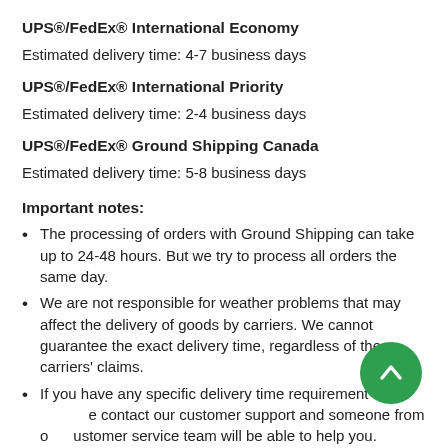UPS®/FedEx® International Economy
Estimated delivery time: 4-7 business days
UPS®/FedEx® International Priority
Estimated delivery time: 2-4 business days
UPS®/FedEx® Ground Shipping Canada
Estimated delivery time: 5-8 business days
Important notes:
The processing of orders with Ground Shipping can take up to 24-48 hours. But we try to process all orders the same day.
We are not responsible for weather problems that may affect the delivery of goods by carriers. We cannot guarantee the exact delivery time, regardless of the carriers' claims.
If you have any specific delivery time requirements, please contact our customer support and someone from our customer service team will be able to help you.
You can estimate the shipping cost from the products detail page, also available on the checkout page